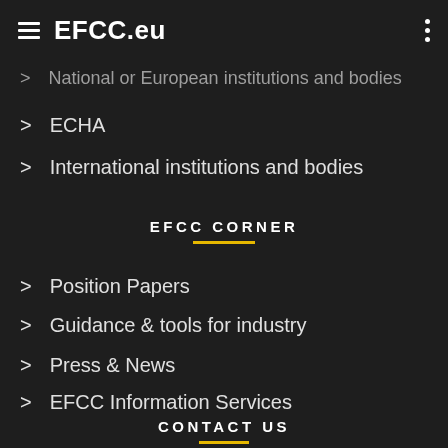EFCC.eu
National or European institutions and bodies
ECHA
International institutions and bodies
EFCC CORNER
Position Papers
Guidance & tools for industry
Press & News
EFCC Information Services
CONTACT US